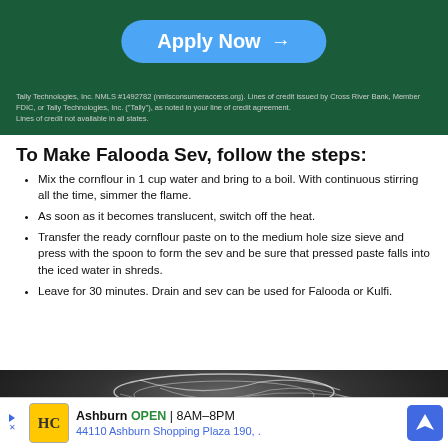[Figure (screenshot): Advertisement banner with dark green background showing an 'Apply Now' button in blue/teal, with disclaimer text about Tally Technologies, Inc. NMLS #1492782]
To Make Falooda Sev, follow the steps:
Mix the cornflour in 1 cup water and bring to a boil. With continuous stirring all the time, simmer the flame.
As soon as it becomes translucent, switch off the heat.
Transfer the ready cornflour paste on to the medium hole size sieve and press with the spoon to form the sev and be sure that pressed paste falls into the iced water in shreds.
Leave for 30 minutes. Drain and sev can be used for Falooda or Kulfi.
[Figure (photo): Photo of white noodle-like Falooda Sev strands on a dark background, with an advertisement overlay for HC in Ashburn showing OPEN 8AM-8PM, 44110 Ashburn Shopping Plaza 190]